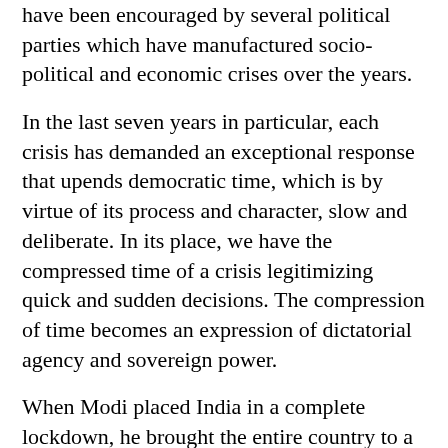have been encouraged by several political parties which have manufactured socio-political and economic crises over the years.
In the last seven years in particular, each crisis has demanded an exceptional response that upends democratic time, which is by virtue of its process and character, slow and deliberate. In its place, we have the compressed time of a crisis legitimizing quick and sudden decisions. The compression of time becomes an expression of dictatorial agency and sovereign power.
When Modi placed India in a complete lockdown, he brought the entire country to a halt, snatching away people's fundamental rights to secure food, a livelihood, medicine and healthcare. He criminalized those who were unable to comply with his orders.
Deprived of daily wages in the metropolitan cities they helped build, migrant workers were forced to